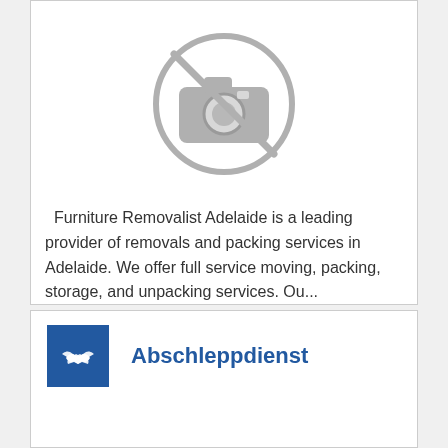[Figure (illustration): No image available placeholder: circle with a crossed-out camera icon, grey color]
Furniture Removalist Adelaide is a leading provider of removals and packing services in Adelaide. We offer full service moving, packing, storage, and unpacking services. Ou...
View Website
Read more
[Figure (logo): Blue square logo with white handshake icon]
Abschleppdienst